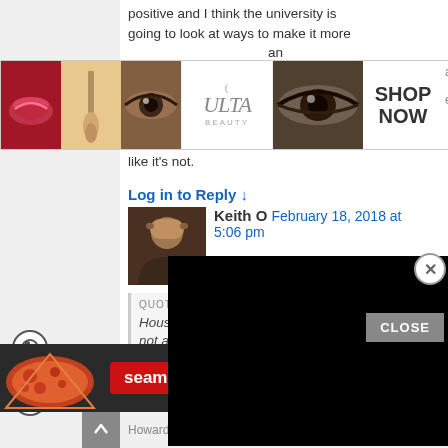positive and I think the university is going to look at ways to make it more an end like it's not.
[Figure (photo): Ulta Beauty advertisement banner with makeup images (lips, brush, eye, eye) and SHOP NOW button]
Log in to Reply ↓
Keith O  February 18, 2018 at 5:06 pm
QUOTED TEXT
Housing... not affo...
We're still... for campus... anything 5% or under lends to campus housing not being considered so unaffordable.
[Figure (screenshot): Black video player overlay with close (X) button]
[Figure (photo): Seamless food delivery advertisement with pizza image and ORDER NOW button]
Howard P February 18...